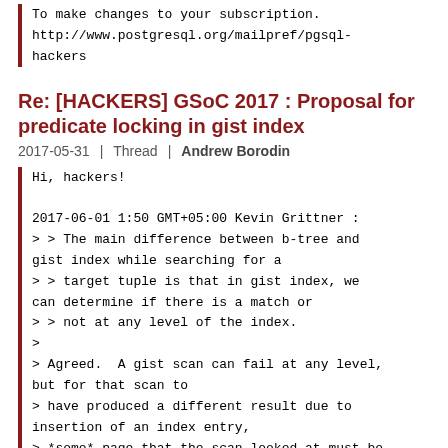To make changes to your subscription:
http://www.postgresql.org/mailpref/pgsql-hackers
Re: [HACKERS] GSoC 2017 : Proposal for predicate locking in gist index
2017-05-31 | Thread | Andrew Borodin
Hi, hackers!

2017-06-01 1:50 GMT+05:00 Kevin Grittner :
> > The main difference between b-tree and gist index while searching for a
> > target tuple is that in gist index, we can determine if there is a match or
> > not at any level of the index.
>
> Agreed.  A gist scan can fail at any level, but for that scan to
> have produced a different result due to insertion of an index entry,
> > *some* page that the scan looked at must be modified.